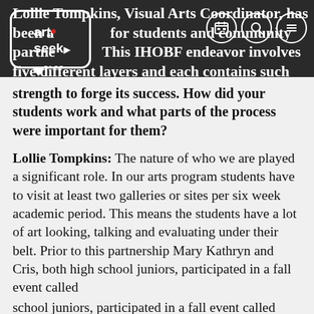Lollie Tompkins, Visual Arts Coordinator, has been a conduit for students and community partnerships. This IHOBF endeavor involves five different layers and each contains such strength to forge its success. How did your students work and what parts of the process were important for them?
Lollie Tompkins: The nature of who we are played a significant role. In our arts program students have to visit at least two galleries or sites per six week academic period. This means the students have a lot of art looking, talking and evaluating under their belt. Prior to this partnership Mary Kathryn and Cris, both high school juniors, participated in a fall event called